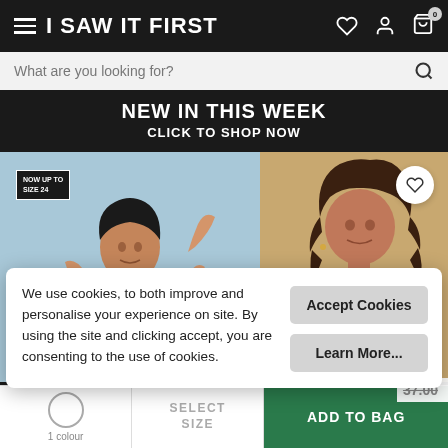I SAW IT FIRST
What are you looking for?
NEW IN THIS WEEK
CLICK TO SHOP NOW
[Figure (photo): Two female models. Left: woman in white off-shoulder dress against blue background with 'NOW UP TO SIZE 24' badge. Right: woman with curly hair, partially visible, with heart/wishlist button overlay.]
We use cookies, to both improve and personalise your experience on site. By using the site and clicking accept, you are consenting to the use of cookies.
Accept Cookies
Learn More...
1 colour
SELECT SIZE
ADD TO BAG